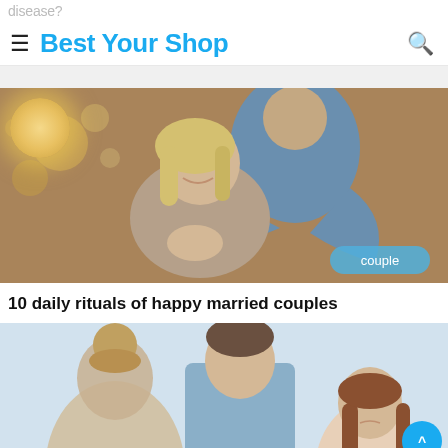Best Your Shop
[Figure (photo): A couple embracing warmly; man kissing woman on the cheek as she smiles with eyes closed, bokeh lights in background. Badge reads 'couple'.]
10 daily rituals of happy married couples
[Figure (photo): A woman with hair in a bun and a man in a blue shirt standing near a young girl with long brown hair who looks worried or upset.]